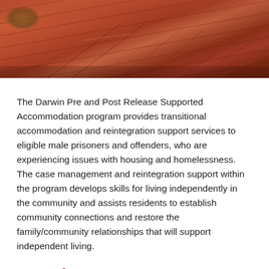[Figure (photo): Aerial or ground-level photograph of a red dirt road with tyre tracks, typical of outback Australia terrain]
The Darwin Pre and Post Release Supported Accommodation program provides transitional accommodation and reintegration support services to eligible male prisoners and offenders, who are experiencing issues with housing and homelessness. The case management and reintegration support within the program develops skills for living independently in the community and assists residents to establish community connections and restore the family/community relationships that will support independent living.
Location